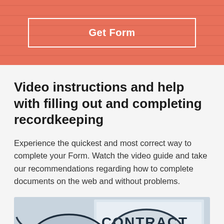Get Form
Video instructions and help with filling out and completing recordkeeping
Experience the quickest and most correct way to complete your Form. Watch the video guide and take our recommendations regarding how to complete documents on the web and without problems.
[Figure (photo): Photo of a contract document with glasses resting on top, with the word CONTRACT visible prominently. A video play button overlay appears at the bottom center.]